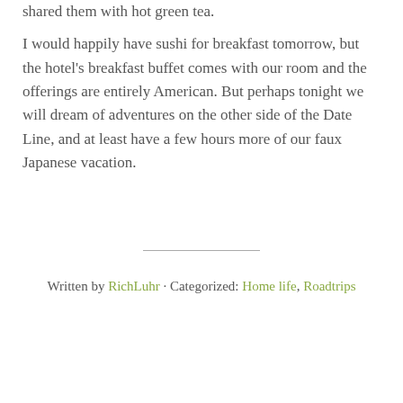shared them with hot green tea.
I would happily have sushi for breakfast tomorrow, but the hotel's breakfast buffet comes with our room and the offerings are entirely American. But perhaps tonight we will dream of adventures on the other side of the Date Line, and at least have a few hours more of our faux Japanese vacation.
Written by RichLuhr · Categorized: Home life, Roadtrips